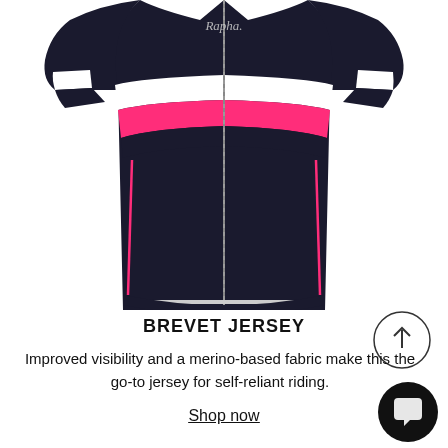[Figure (photo): Close-up product photo of a Rapha Brevet cycling jersey. The jersey is dark navy/black with horizontal stripes across the chest: a white stripe and a bright pink/magenta stripe. The sleeves have black and white band details. A silver zipper runs down the center front. The Rapha logo is visible in white script at the chest.]
BREVET JERSEY
Improved visibility and a merino-based fabric make this the go-to jersey for self-reliant riding.
Shop now